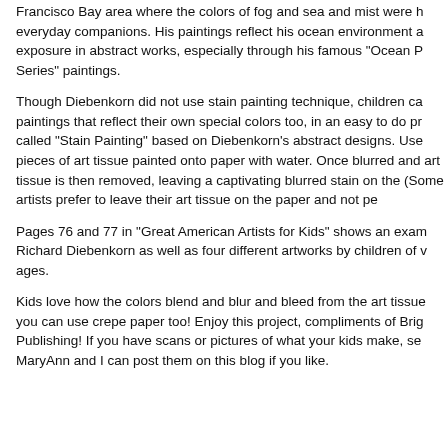Francisco Bay area where the colors of fog and sea and mist were his everyday companions. His paintings reflect his ocean environment and exposure in abstract works, especially through his famous "Ocean P Series" paintings.
Though Diebenkorn did not use stain painting technique, children ca paintings that reflect their own special colors too, in an easy to do pr called "Stain Painting" based on Diebenkorn's abstract designs. Use pieces of art tissue painted onto paper with water. Once blurred and art tissue is then removed, leaving a captivating blurred stain on the (Some artists prefer to leave their art tissue on the paper and not pe
Pages 76 and 77 in "Great American Artists for Kids" shows an exam Richard Diebenkorn as well as four different artworks by children of v ages.
Kids love how the colors blend and blur and bleed from the art tissue you can use crepe paper too! Enjoy this project, compliments of Brig Publishing! If you have scans or pictures of what your kids make, se MaryAnn and I can post them on this blog if you like.